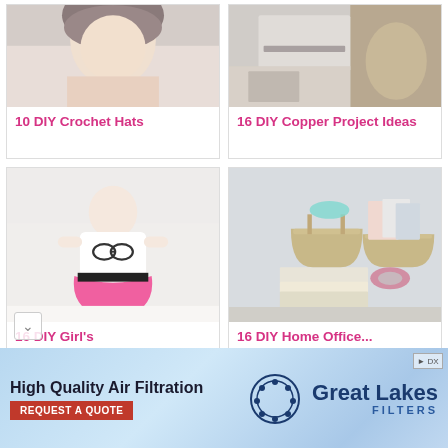[Figure (photo): Baby or toddler wearing a crocheted hat]
10 DIY Crochet Hats
[Figure (photo): Person at desk with copper/twine crafts]
16 DIY Copper Project Ideas
[Figure (photo): Baby girl wearing white onesie with glasses print and pink tutu skirt]
16 DIY Girl's
[Figure (photo): Home office supplies including baskets, tape, notebooks and stationery]
16 DIY Home Office...
[Figure (photo): Advertisement banner: High Quality Air Filtration - Great Lakes Filters - Request a Quote]